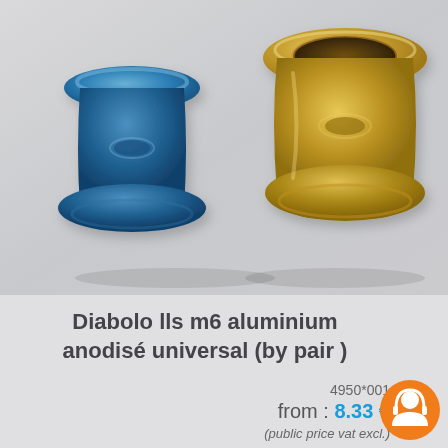[Figure (photo): Two anodized aluminium diabolo lls m6 parts: one blue/dark on the left, one gold/yellow on the right, on a light grey background]
Diabolo lls m6 aluminium anodisé universal (by pair )
4950*001
from : 8.33 €
(public price vat excl.)